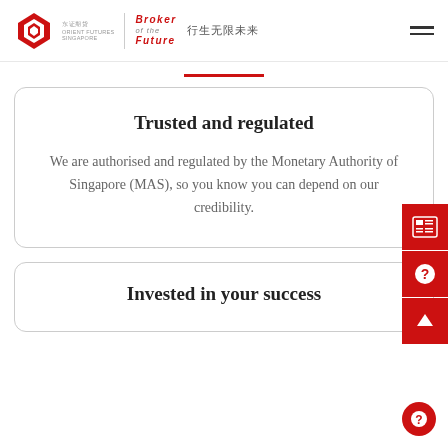[Figure (logo): Orient Futures Singapore logo with red geometric icon, 'Broker of the Future' text in red italic, and Chinese slogan 行生无限未来]
[Figure (other): Red horizontal separator line centered below header]
Trusted and regulated
We are authorised and regulated by the Monetary Authority of Singapore (MAS), so you know you can depend on our credibility.
Invested in your success